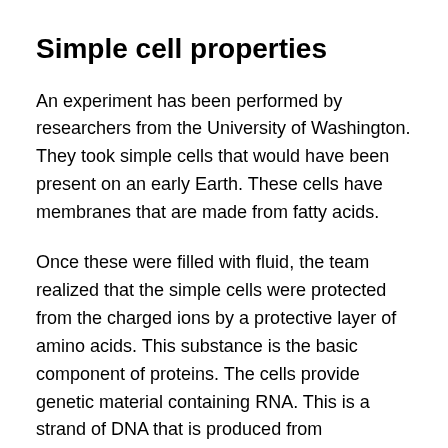Simple cell properties
An experiment has been performed by researchers from the University of Washington. They took simple cells that would have been present on an early Earth. These cells have membranes that are made from fatty acids.
Once these were filled with fluid, the team realized that the simple cells were protected from the charged ions by a protective layer of amino acids. This substance is the basic component of proteins. The cells provide genetic material containing RNA. This is a strand of DNA that is produced from magnesium.
The study was successfully published on the 12 of